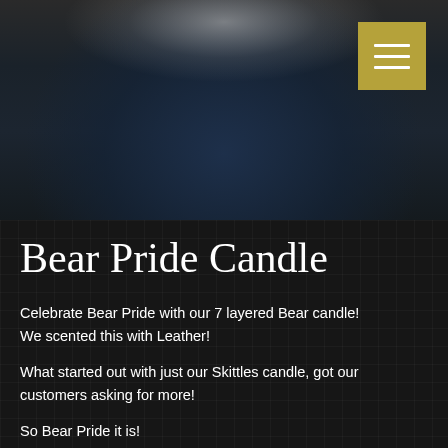[Figure (photo): Blurred close-up photo of a Bear Pride candle with dark blue/gray tones against a dark background. A golden/olive colored hamburger menu button appears in the top-right corner.]
Bear Pride Candle
Celebrate Bear Pride with our 7 layered Bear candle!
We scented this with Leather!
What started out with just our Skittles candle, got our customers asking for more!
So Bear Pride it is!
20 % of the total sales from our pride line for the month of June goes to HIV